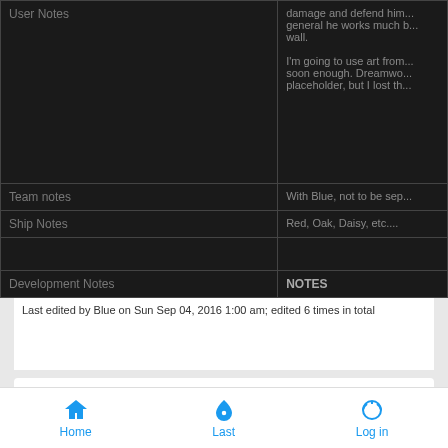| Label | Content |
| --- | --- |
| User Notes | damage and defend him... general he works much b... wall.
I'm going to use art from... soon enough. Dreamwo... placeholder, but I lost th... |
| Team notes | With Blue, not to be sep... |
| Ship Notes | Red, Oak, Daisy, etc.... |
|  |  |
| Development Notes | NOTES |
Last edited by Blue on Sun Sep 04, 2016 1:00 am; edited 6 times in total
Fri Sep 26, 2014 4:18 pm
by Mew
Home  Last  Log in